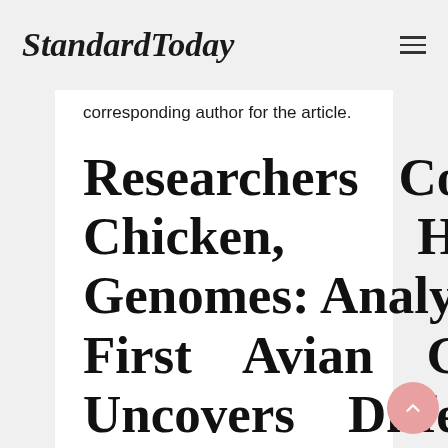StandardToday
corresponding author for the article.
Researchers Compare Chicken, Human Genomes: Analysis Of First Avian Genome Uncovers Differences Between Birds And Mammals
BETHESDA, Md., Wed., Dec. 8, 2004